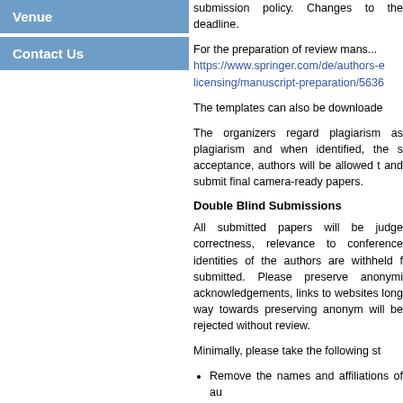Venue
Contact Us
submission policy. Changes to the deadline.
For the preparation of review mans... https://www.springer.com/de/authors-e licensing/manuscript-preparation/5636
The templates can also be downloade
The organizers regard plagiarism as plagiarism and when identified, the s acceptance, authors will be allowed t and submit final camera-ready papers.
Double Blind Submissions
All submitted papers will be judge correctness, relevance to conference identities of the authors are withheld f submitted. Please preserve anonymi acknowledgements, links to websites long way towards preserving anonym will be rejected without review.
Minimally, please take the following st
Remove the names and affiliations of au